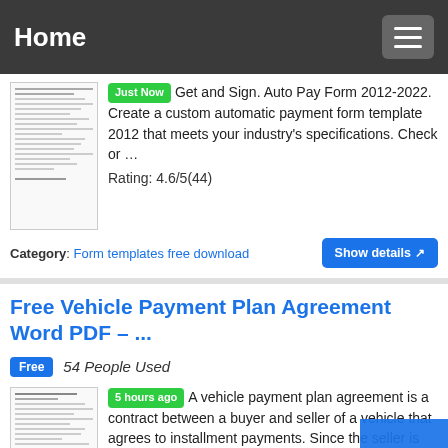Home
Just Now Get and Sign. Auto Pay Form 2012-2022. Create a custom automatic payment form template 2012 that meets your industry's specifications. Check or … Rating: 4.6/5(44)
Category: Form templates free download
Free Vehicle Payment Plan Agreement Word PDF – ...
Free 54 People Used
5 hours ago A vehicle payment plan agreement is a contract between a buyer and seller of a vehicle that agrees to installment payments. Since the seller is providing the